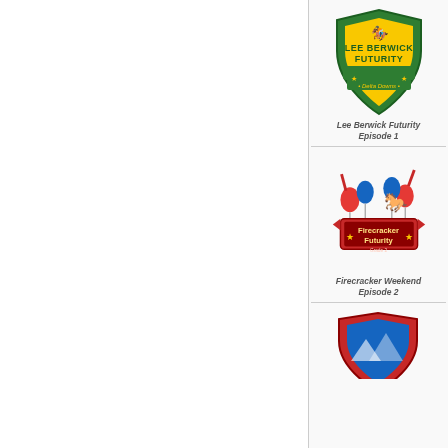[Figure (logo): Lee Berwick Futurity shield-shaped logo with horse racing silhouette, green and yellow colors, Delta Downs]
Lee Berwick Futurity
Episode 1
[Figure (logo): Firecracker Futurity logo with patriotic balloons and horse jumping silhouette, Delta Downs, Grade 2]
Firecracker Weekend
Episode 2
[Figure (logo): Third logo partially visible at bottom, red and blue shield shape]